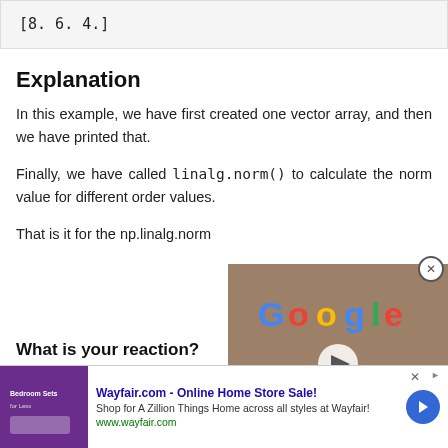[8. 6. 4.]
Explanation
In this example, we have first created one vector array, and then we have printed that.
Finally, we have called linalg.norm() to calculate the norm value for different order values.
That is it for the np.linalg.norm
What is your reaction?
[Figure (screenshot): Google video overlay with play button on brick wall background]
[Figure (screenshot): Wayfair.com advertisement banner with bedroom furniture image, purple background, ad title, description, URL, and blue arrow button]